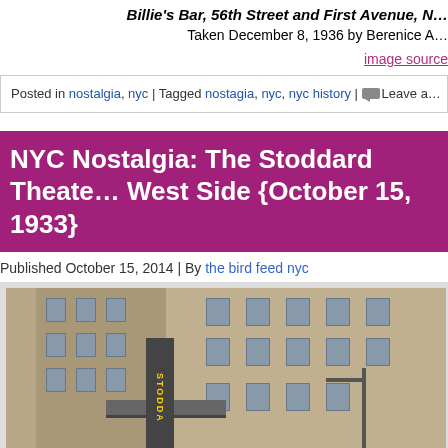Billie's Bar, 56th Street and First Avenue, N… Taken December 8, 1936 by Berenice A…
image source
Posted in nostalgia, nyc | Tagged nostagia, nyc, nyc history | Leave a…
NYC Nostalgia: The Stoddard Theate… West Side {October 15, 1933}
Published October 15, 2014 | By the bird feed nyc
[Figure (photo): Sepia-toned historical photograph of the Stoddard Theater exterior on the West Side of New York City, showing the theater marquee sign, a multi-story building facade with many windows, and a street lamp. Taken October 15, 1933.]